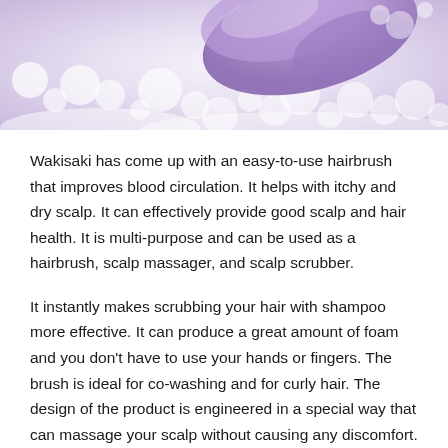[Figure (photo): Close-up photo of purple/lavender colored object with white foam or bubbles, likely showing the hairbrush product in use with shampoo lather]
Wakisaki has come up with an easy-to-use hairbrush that improves blood circulation. It helps with itchy and dry scalp. It can effectively provide good scalp and hair health. It is multi-purpose and can be used as a hairbrush, scalp massager, and scalp scrubber.
It instantly makes scrubbing your hair with shampoo more effective. It can produce a great amount of foam and you don't have to use your hands or fingers. The brush is ideal for co-washing and for curly hair. The design of the product is engineered in a special way that can massage your scalp without causing any discomfort.